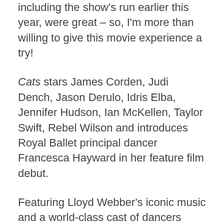including the show's run earlier this year, were great – so, I'm more than willing to give this movie experience a try!
Cats stars James Corden, Judi Dench, Jason Derulo, Idris Elba, Jennifer Hudson, Ian McKellen, Taylor Swift, Rebel Wilson and introduces Royal Ballet principal dancer Francesca Hayward in her feature film debut.
Featuring Lloyd Webber's iconic music and a world-class cast of dancers under the guidance of Tony-winning choreographer Andy Blankenbuehler (Hamilton, In the Heights), the film reimagines the musical for a new generation with spectacular production design, state-of-the-art technology, and dance styles ranging from classical ballet to contemporary, hip-hop to jazz, street dance to tap.